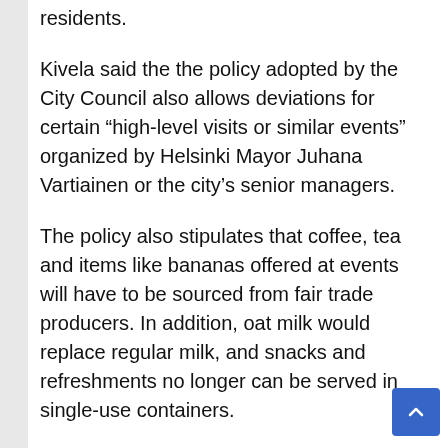residents.
Kivela said the the policy adopted by the City Council also allows deviations for certain “high-level visits or similar events” organized by Helsinki Mayor Juhana Vartiainen or the city’s senior managers.
The policy also stipulates that coffee, tea and items like bananas offered at events will have to be sourced from fair trade producers. In addition, oat milk would replace regular milk, and snacks and refreshments no longer can be served in single-use containers.
The local government said in a statement that the measure is part of a broader effort “which aims to reduce the climate impact of food and